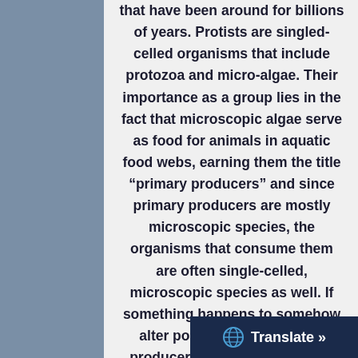that have been around for billions of years. Protists are singled-celled organisms that include protozoa and micro-algae. Their importance as a group lies in the fact that microscopic algae serve as food for animals in aquatic food webs, earning them the title “primary producers” and since primary producers are mostly microscopic species, the organisms that consume them are often single-celled, microscopic species as well. If something happens to somehow alter populations of primary producers, the entire food web could be affected.
Probably the topic most o...